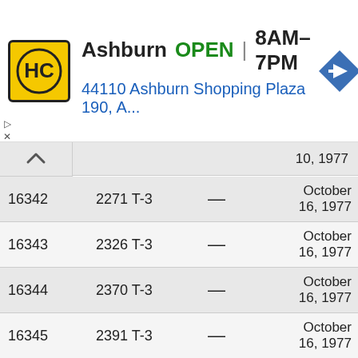[Figure (logo): HC Hardware store logo — yellow/gold square with HC monogram in black circle, store name Ashburn, OPEN status, hours 8AM-7PM, address 44110 Ashburn Shopping Plaza 190, A..., navigation arrow icon]
| ID | Model |  | Date |
| --- | --- | --- | --- |
|  |  |  | 10, 1977 |
| 16342 | 2271 T-3 | — | October 16, 1977 |
| 16343 | 2326 T-3 | — | October 16, 1977 |
| 16344 | 2370 T-3 | — | October 16, 1977 |
| 16345 | 2391 T-3 | — | October 16, 1977 |
| 16346 | 2682 T-3 | — | October 11, 1977 |
| 16347 | 3256 T-3 | — | October 16, 1977 |
| 16348 | 3465 T-3 | — | October 16, 1977 |
| 16349 | 4062 T-3 | — | October 16, 1977 |
| 16350 | 1964 VZ₂ | — | November 11, 1964 |